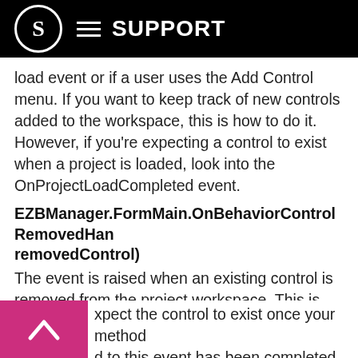S SUPPORT
load event or if a user uses the Add Control menu. If you want to keep track of new controls added to the workspace, this is how to do it. However, if you're expecting a control to exist when a project is loaded, look into the OnProjectLoadCompleted event.
EZBManager.FormMain.OnBehaviorControlRemovedHandler(removedControl)
The event is raised when an existing control is removed from the project workspace. This is not raised when the application is closing, or the project is closing. Contrary to OnBehaviorControlAdded, this event is raised when a user removes a control from the current workspace. The control is passed as a parameter, but it won't be closed until you release it from the completion of the event. This means don't expect the control to exist once your method connected to this event has been completed.